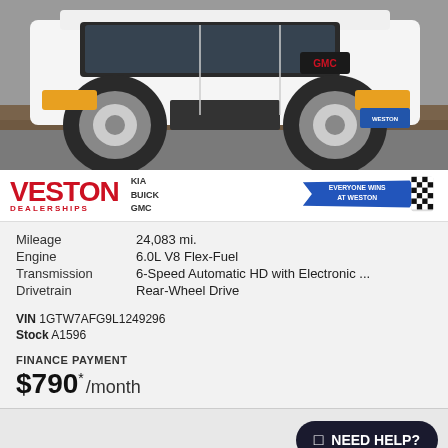[Figure (photo): Front view of a white GMC van (cargo van) photographed from a low angle, outdoors on a road surface with mulch visible. GMC badge visible, Weston dealer plate on front.]
[Figure (logo): Veston Dealerships logo in red with 'VESTON' in large bold letters and 'DEALERSHIPS' below. KIA, BUICK, GMC brands listed next to it. 'EVERYONE WINS AT WESTON' banner with checkered flag graphic to the right.]
Mileage 24,083 mi.
Engine 6.0L V8 Flex-Fuel
Transmission 6-Speed Automatic HD with Electronic ...
Drivetrain Rear-Wheel Drive
VIN 1GTW7AFG9L1249296
Stock A1596
FINANCE PAYMENT
$790* /month
2020 GMC